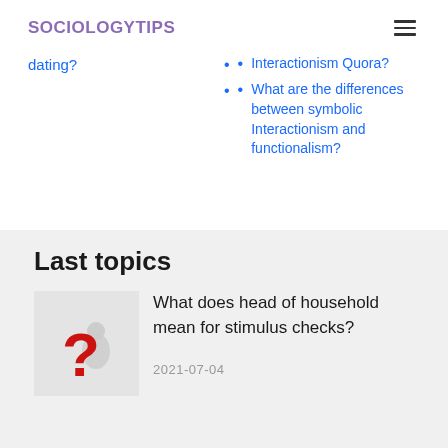SOCIOLOGYTIPS
dating?
Interactionism Quora?
What are the differences between symbolic Interactionism and functionalism?
Last topics
What does head of household mean for stimulus checks?
2021-07-04